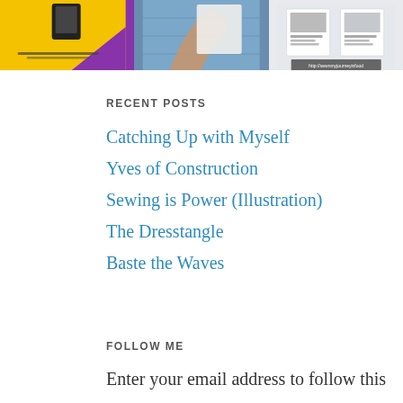[Figure (photo): Three images in a row: first is a yellow/orange background with dark object and purple shape with small text overlay; second is a hand holding/folding blue fabric or paper; third shows two white cards and a gray banner.]
RECENT POSTS
Catching Up with Myself
Yves of Construction
Sewing is Power (Illustration)
The Dresstangle
Baste the Waves
FOLLOW ME
Enter your email address to follow this